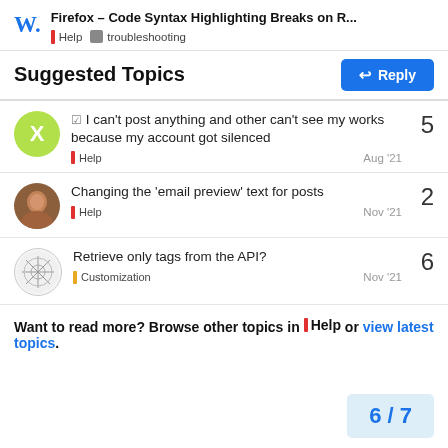Firefox – Code Syntax Highlighting Breaks on R... | Help | troubleshooting
Suggested Topics
I can't post anything and other can't see my works because my account got silenced | Help | Aug '21 | 5
Changing the 'email preview' text for posts | Help | Nov '21 | 2
Retrieve only tags from the API? | Customization | Nov '21 | 6
Want to read more? Browse other topics in Help or view latest topics.
6 / 7